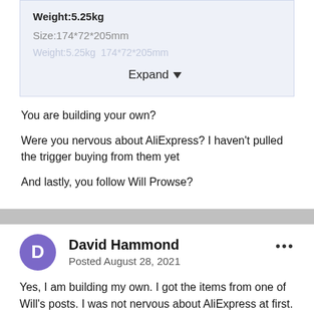Weight:5.25kg
Size:174*72*205mm
Expand
You are building your own?
Were you nervous about AliExpress? I haven't pulled the trigger buying from them yet
And lastly, you follow Will Prowse?
David Hammond
Posted August 28, 2021
Yes, I am building my own. I got the items from one of Will's posts. I was not nervous about AliExpress at first. Shipment took over 2 months. By the end, I was.